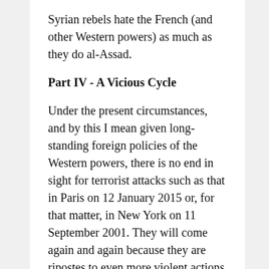Syrian rebels hate the French (and other Western powers) as much as they do al-Assad.
Part IV - A Vicious Cycle
Under the present circumstances, and by this I mean given long-standing foreign policies of the Western powers, there is no end in sight for terrorist attacks such as that in Paris on 12 January 2015 or, for that matter, in New York on 11 September 2001. They will come again and again because they are ripostes to even more violent actions coming from the West. In other words, what we have going here is a vicious cycle. It began